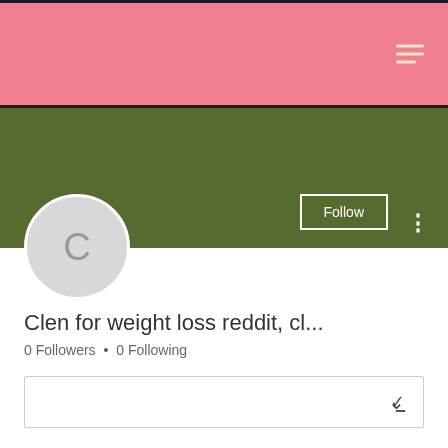[Figure (screenshot): Pink header banner with hamburger menu icon in cream/beige color on the right side]
[Figure (screenshot): Olive green banner section with Follow button outlined in white and three-dot menu on the right, and a gray circular avatar with letter C on the lower left]
Clen for weight loss reddit, cl...
0 Followers • 0 Following
[Figure (screenshot): Dropdown selector box with chevron/down arrow on the right]
Profile
Join date: May 11, 2022